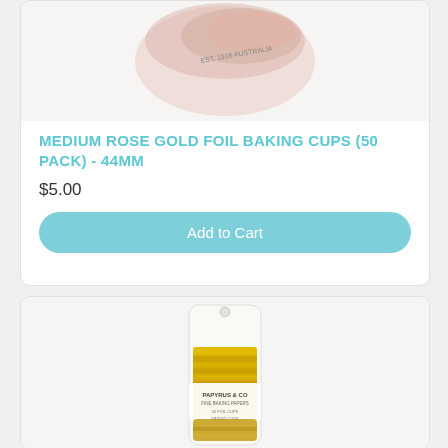[Figure (photo): Partial view of rose gold foil baking cups product, cropped at top]
MEDIUM ROSE GOLD FOIL BAKING CUPS (50 PACK) - 44MM
$5.00
Add to Cart
[Figure (photo): Gold foil baking cups stacked in a tube/roll with white Papyrus & Co label, partially visible]